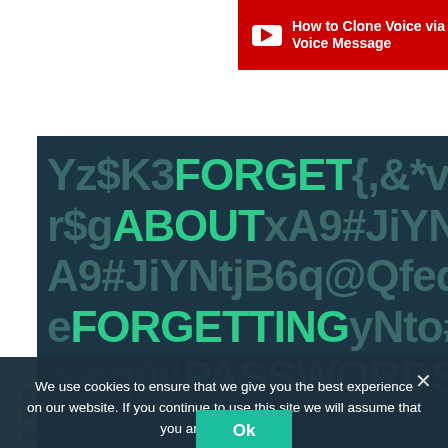[Figure (screenshot): YouTube-style red bar with play icon and text: How to Clone Voice via WhatsApp Voice Message]
WhatsApp Group
[Figure (illustration): Dark teal panel with large mixed password text: Yz$K3FORGET{,&*vjq r$gABOUTxA9#JiYNtj A9#JiYNtjB6q@Qfeqf eFORGETTINGyNto# %eq0j!PASSWORDSx]
Try Dashlane for free →
We use cookies to ensure that we give you the best experience on our website. If you continue to use this site we will assume that you are happy with it.
Ok
BYOB is an open source project that provides a framework for researchers and experts in ethical hacking to build and operate a